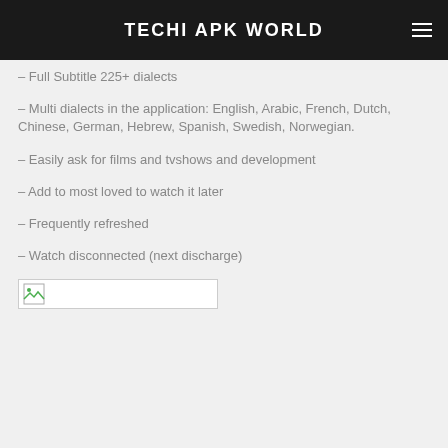TECHI APK WORLD
– Full Subtitle 225+ dialects
– Multi dialects in the application: English, Arabic, French, Dutch, Chinese, German, Hebrew, Spanish, Swedish, Norwegian.
– Easily ask for films and tvshows and development
– Add to most loved to watch it later
– Frequently refreshed
– Watch disconnected (next discharge)
[Figure (illustration): Broken image placeholder with small icon]